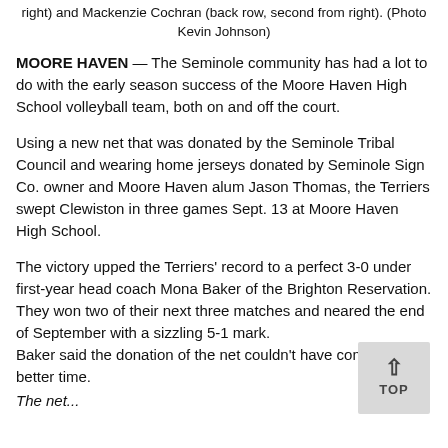right) and Mackenzie Cochran (back row, second from right). (Photo Kevin Johnson)
MOORE HAVEN — The Seminole community has had a lot to do with the early season success of the Moore Haven High School volleyball team, both on and off the court.
Using a new net that was donated by the Seminole Tribal Council and wearing home jerseys donated by Seminole Sign Co. owner and Moore Haven alum Jason Thomas, the Terriers swept Clewiston in three games Sept. 13 at Moore Haven High School.
The victory upped the Terriers' record to a perfect 3-0 under first-year head coach Mona Baker of the Brighton Reservation. They won two of their next three matches and neared the end of September with a sizzling 5-1 mark.
Baker said the donation of the net couldn't have come at a better time.
The net...